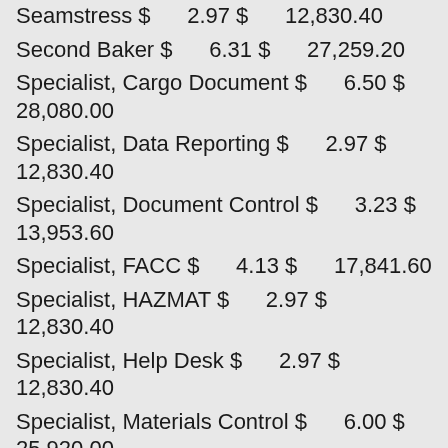| Job Title | Rate | Annual |
| --- | --- | --- |
| Seamstress $ | 2.97 $ | 12,830.40 |
| Second Baker $ | 6.31 $ | 27,259.20 |
| Specialist, Cargo Document $ | 6.50 $ | 28,080.00 |
| Specialist, Data Reporting $ | 2.97 $ | 12,830.40 |
| Specialist, Document Control $ | 3.23 $ | 13,953.60 |
| Specialist, FACC $ | 4.13 $ | 17,841.60 |
| Specialist, HAZMAT $ | 2.97 $ | 12,830.40 |
| Specialist, Help Desk $ | 2.97 $ | 12,830.40 |
| Specialist, Materials Control $ | 6.00 $ | 25,920.00 |
| Supervisor, Billeting $ | 4.28 $ | 18,489.60 |
| Supervisor, Food Service $ | 4.51 $ | 19,483.20 |
| Supervisor, Food Service Sanitation $ | 6.32 |  |